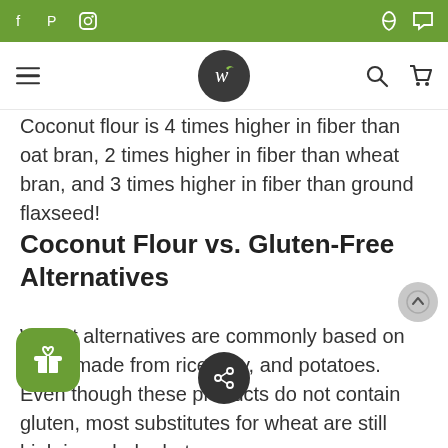Website navigation bar with social icons, logo, search and cart
Coconut flour is 4 times higher in fiber than oat bran, 2 times higher in fiber than wheat bran, and 3 times higher in fiber than ground flaxseed!
Coconut Flour vs. Gluten-Free Alternatives
Wheat alternatives are commonly based on flours made from rice, soy, and potatoes. Even though these products do not contain gluten, most substitutes for wheat are still high in carbohydrates.